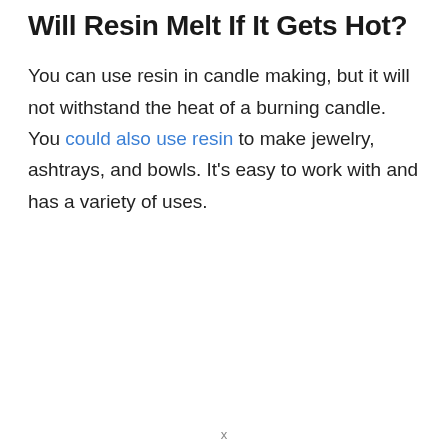Will Resin Melt If It Gets Hot?
You can use resin in candle making, but it will not withstand the heat of a burning candle. You could also use resin to make jewelry, ashtrays, and bowls. It’s easy to work with and has a variety of uses.
x